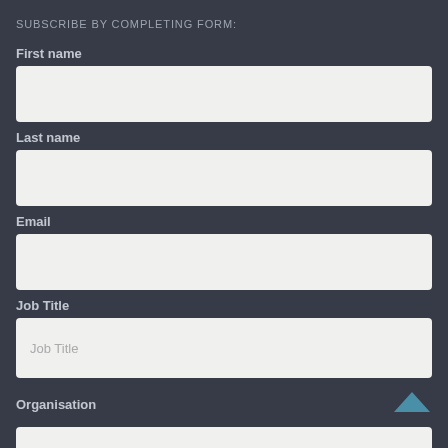SUBSCRIBE BY COMPLETING FORM:
First name
Last name
Email
Job Title
Organisation